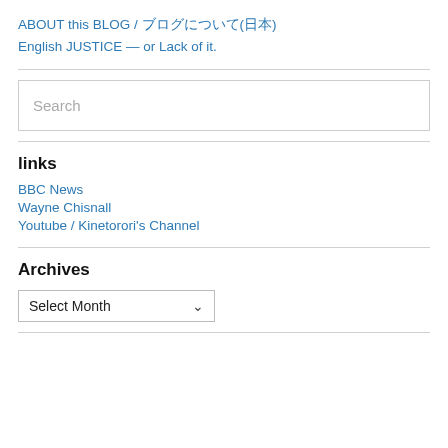ABOUT this BLOG / ブログについて(日本)
English JUSTICE — or Lack of it.
links
BBC News
Wayne Chisnall
Youtube / Kinetorori's Channel
Archives
Select Month